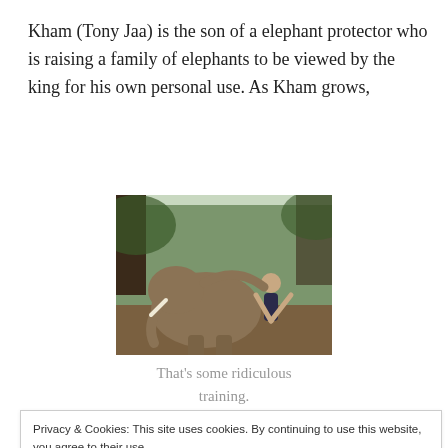Kham (Tony Jaa) is the son of a elephant protector who is raising a family of elephants to be viewed by the king for his own personal use. As Kham grows,
[Figure (photo): A person doing a martial arts move with an elephant in a forest setting]
That's some ridiculous training.
Privacy & Cookies: This site uses cookies. By continuing to use this website, you agree to their use.
To find out more, including how to control cookies, see here: Cookie Policy